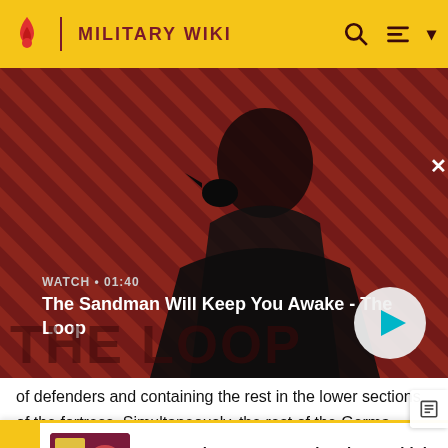MILITARY WIKI
[Figure (screenshot): Video banner showing 'The Sandman Will Keep You Awake - The Loop' with a dark figure and a crow on striped red background, showing WATCH • 01:40 and a play button]
The Sandman Will Keep You Awake - The Loop
of defenders and containing the rest in the lower sections of the fortress. Simultaneously, the rest of the German assau... Cana... positi...
[Figure (infographic): Advertisement: Watermelon survey thumbnail with text 'Watermelon survey … What do you think about Harry Styles?' and CTA 'TAKE THE SURVEY HERE']